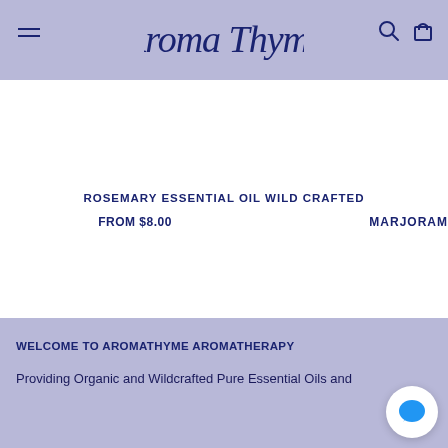Aroma Thyme
[Figure (logo): Aroma Thyme handwritten script logo in dark navy blue]
ROSEMARY ESSENTIAL OIL WILD CRAFTED
FROM $8.00
MARJORAM
WELCOME TO AROMATHYME AROMATHERAPY
Providing Organic and Wildcrafted Pure Essential Oils and